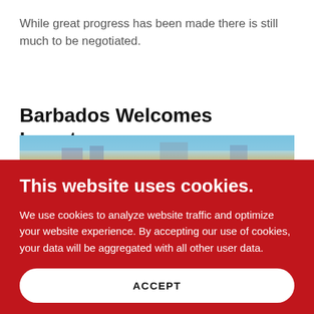While great progress has been made there is still much to be negotiated.
Barbados Welcomes Investors
[Figure (photo): Partial photograph of a coastal or harbor scene with blue sky and boats, partially visible behind the cookie banner overlay.]
This website uses cookies.
We use cookies to analyze website traffic and optimize your website experience. By accepting our use of cookies, your data will be aggregated with all other user data.
ACCEPT